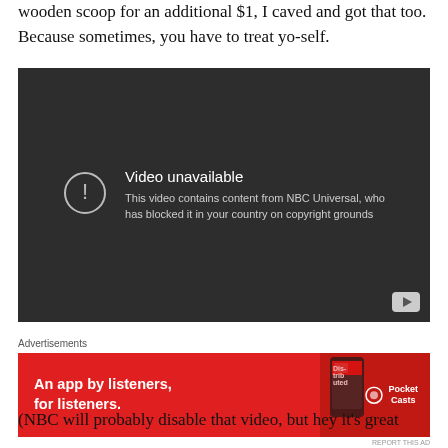wooden scoop for an additional $1, I caved and got that too. Because sometimes, you have to treat yo-self.
[Figure (screenshot): Embedded YouTube video player showing 'Video unavailable' message. Text reads: 'This video contains content from NBC Universal, who has blocked it in your country on copyright grounds'. Dark background with a circular exclamation icon and YouTube play button in bottom right corner.]
Advertisements
[Figure (screenshot): Red advertisement banner for Pocket Casts app. Text reads 'An app by listeners, for listeners.' with Pocket Casts logo and phone graphic. 'REPORT THIS AD' link in bottom right.]
(NBC will probably disable that video, but hey it's great